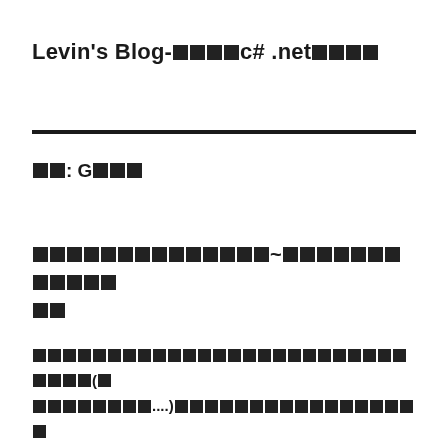Levin's Blog-□□□□c# .net□□□□
□□: G□□□
□□□□□□□□□□□□□□~□□□□□□□□□□□□
□□□□□□□□□□□□□□□□□□□□□□□□□□□□□(□□□□□□□□....)□□□□□□□□□□□□□□□□□□□□(□□□□□)□□□□□□□□□□□□□□□□□□□□□□□□